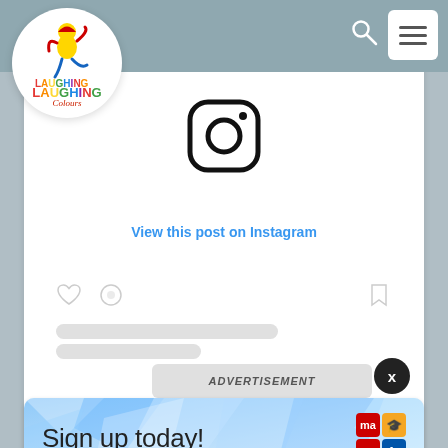[Figure (logo): Laughing Colours logo — circular white badge with a cartoon figure and multicolor text 'LAUGHING Colours']
[Figure (screenshot): Instagram post embed card showing Instagram camera icon, 'View this post on Instagram' link, heart/comment/bookmark icons, placeholder content lines, and 'A post shared by PortraitsByNic @portraitsbynid' attribution]
View this post on Instagram
ADVERTISEMENT
A post shared by PortraitsByNic (@portraitsbynid
[Figure (infographic): Advertisement banner with blue diamond geometric background, 'Sign up today!' text, and Math/Ma logo grid in bottom-right corner]